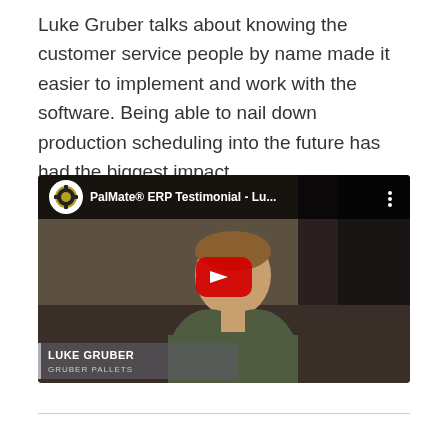Luke Gruber talks about knowing the customer service people by name made it easier to implement and work with the software. Being able to nail down production scheduling into the future has had the biggest impact.
[Figure (screenshot): YouTube video thumbnail for 'PalMate® ERP Testimonial - Lu...' showing a man named Luke Gruber from Gruber Pallets, with a YouTube play button overlay. The video has the AMS logo/channel icon at the top left.]